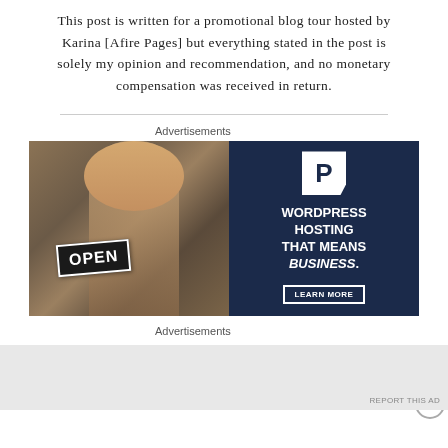This post is written for a promotional blog tour hosted by Karina [Afire Pages] but everything stated in the post is solely my opinion and recommendation, and no monetary compensation was received in return.
Advertisements
[Figure (other): WordPress Hosting advertisement banner. Left half shows a woman smiling holding an OPEN sign. Right half has dark navy background with a P logo, text reading WORDPRESS HOSTING THAT MEANS BUSINESS. and a LEARN MORE button.]
Advertisements